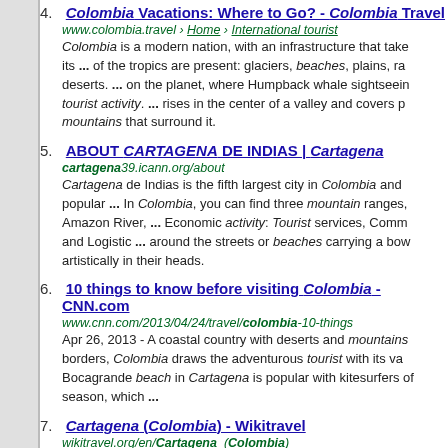4. Colombia Vacations: Where to Go? - Colombia Travel
www.colombia.travel › Home › International tourist
Colombia is a modern nation, with an infrastructure that take its ... of the tropics are present: glaciers, beaches, plains, ra deserts. ... on the planet, where Humpback whale sightseein tourist activity. ... rises in the center of a valley and covers p mountains that surround it.
5. ABOUT CARTAGENA DE INDIAS | Cartagena
cartagena39.icann.org/about
Cartagena de Indias is the fifth largest city in Colombia and popular ... In Colombia, you can find three mountain ranges, Amazon River, ... Economic activity: Tourist services, Comm and Logistic ... around the streets or beaches carrying a bow artistically in their heads.
6. 10 things to know before visiting Colombia - CNN.com
www.cnn.com/2013/04/24/travel/colombia-10-things
Apr 26, 2013 - A coastal country with deserts and mountains borders, Colombia draws the adventurous tourist with its va Bocagrande beach in Cartagena is popular with kitesurfers season, which ...
7. Cartagena (Colombia) - Wikitravel
wikitravel.org/en/Cartagena_(Colombia)
The city has basically two main parts where tourists go: the city ... Cartagena is not close to the Andean mountains, the Medellin with a ... but not too large city center, close by bea